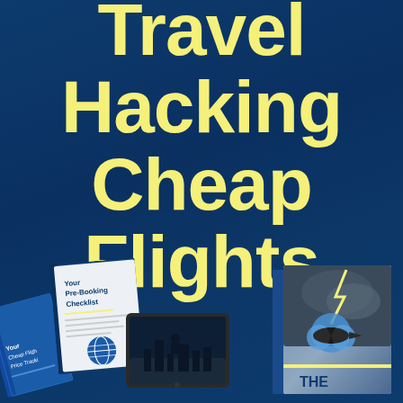Travel Hacking Cheap Flights
[Figure (illustration): Book cover showing title 'Travel Hacking Cheap Flights' in bold yellow text on dark blue background, with product images at the bottom including booklets, a tablet, and a book with an airplane graphic]